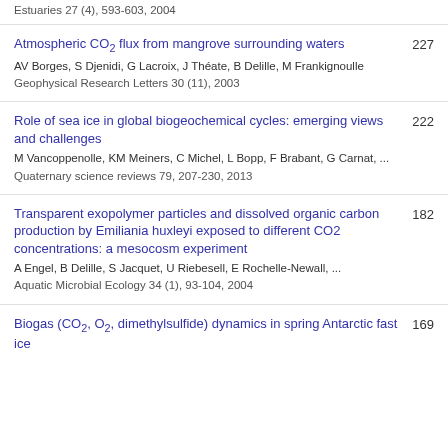Estuaries 27 (4), 593-603, 2004
Atmospheric CO2 flux from mangrove surrounding waters
227
AV Borges, S Djenidi, G Lacroix, J Théate, B Delille, M Frankignoulle
Geophysical Research Letters 30 (11), 2003
Role of sea ice in global biogeochemical cycles: emerging views and challenges
222
M Vancoppenolle, KM Meiners, C Michel, L Bopp, F Brabant, G Carnat, ...
Quaternary science reviews 79, 207-230, 2013
Transparent exopolymer particles and dissolved organic carbon production by Emiliania huxleyi exposed to different CO2 concentrations: a mesocosm experiment
182
A Engel, B Delille, S Jacquet, U Riebesell, E Rochelle-Newall, ...
Aquatic Microbial Ecology 34 (1), 93-104, 2004
Biogas (CO2, O2, dimethylsulfide) dynamics in spring Antarctic fast ice
169